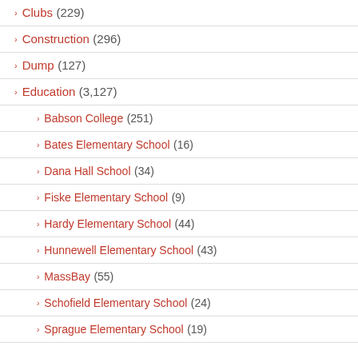Clubs (229)
Construction (296)
Dump (127)
Education (3,127)
Babson College (251)
Bates Elementary School (16)
Dana Hall School (34)
Fiske Elementary School (9)
Hardy Elementary School (44)
Hunnewell Elementary School (43)
MassBay (55)
Schofield Elementary School (24)
Sprague Elementary School (19)